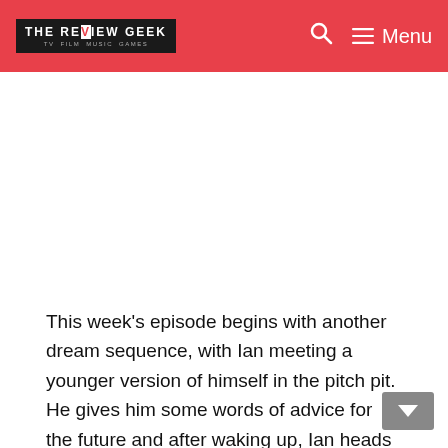THE REVIEW GEEK — TV FILM MUSIC GAMES
[Figure (other): Advertisement placeholder area (white space)]
This week's episode begins with another dream sequence, with Ian meeting a younger version of himself in the pitch pit. He gives him some words of advice for the future and after waking up, Ian heads to the wrap party for the pilot. Christine arrives and explains that they're still waiting to see if the show will get picked up by Fox. She then tells them that The